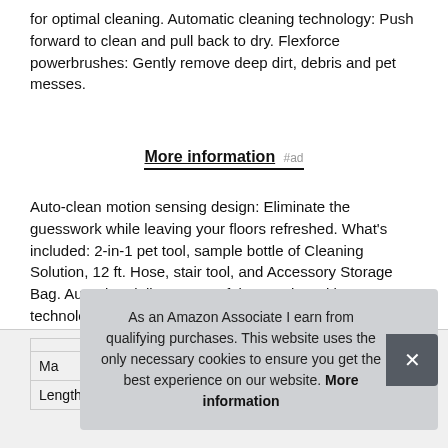for optimal cleaning. Automatic cleaning technology: Push forward to clean and pull back to dry. Flexforce powerbrushes: Gently remove deep dirt, debris and pet messes.
More information #ad
Auto-clean motion sensing design: Eliminate the guesswork while leaving your floors refreshed. What's included: 2-in-1 pet tool, sample bottle of Cleaning Solution, 12 ft. Hose, stair tool, and Accessory Storage Bag. Auto-dry: delivers powerful extraction with HeatForce technology for faster drying.
| Ma |  |
| Length | 101 inches |
As an Amazon Associate I earn from qualifying purchases. This website uses the only necessary cookies to ensure you get the best experience on our website. More information